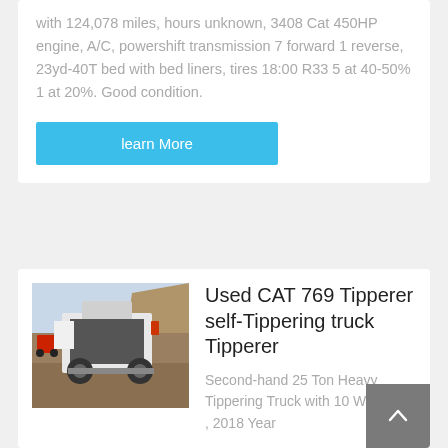with 124,078 miles, hours unknown, 3408 Cat 450HP engine, A/C, powershift transmission 7 forward 1 reverse, 23yd-40T bed with bed liners, tires 18:00 R33 5 at 40-50% 1 at 20%. Good condition.
learn More
[Figure (photo): Rear view of a large mining/dump truck in an outdoor rocky setting]
Used CAT 769 Tipperer self-Tippering truck Tipperer
Second-hand 25 Ton Heavy Tippering Truck with 10 Wheelers , 2018 Year